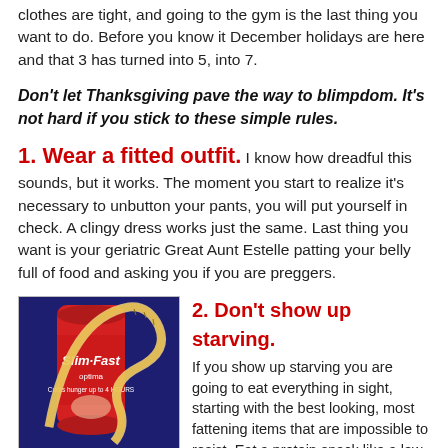clothes are tight, and going to the gym is the last thing you want to do. Before you know it December holidays are here and that 3 has turned into 5, into 7.
Don't let Thanksgiving pave the way to blimpdom. It's not hard if you stick to these simple rules.
1. Wear a fitted outfit. I know how dreadful this sounds, but it works. The moment you start to realize it's necessary to unbutton your pants, you will put yourself in check. A clingy dress works just the same. Last thing you want is your geriatric Great Aunt Estelle patting your belly full of food and asking you if you are preggers.
[Figure (photo): A Slim-Fast optima can wrapped with a measuring tape on a blue background.]
2. Don't show up starving. If you show up starving you are going to eat everything in sight, starting with the best looking, most fattening items that are impossible to resist. Eat a protein snack like a low-fat string cheese or yogurt before leaving the